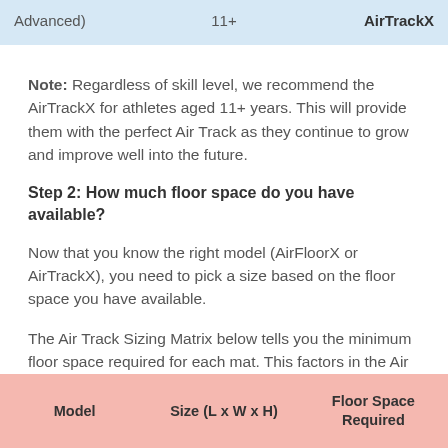|  | 11+ | AirTrackX |
| --- | --- | --- |
| Advanced) | 11+ | AirTrackX |
Note: Regardless of skill level, we recommend the AirTrackX for athletes aged 11+ years. This will provide them with the perfect Air Track as they continue to grow and improve well into the future.
Step 2: How much floor space do you have available?
Now that you know the right model (AirFloorX or AirTrackX), you need to pick a size based on the floor space you have available.
The Air Track Sizing Matrix below tells you the minimum floor space required for each mat. This factors in the Air Track size + some run up space.
| Model | Size (L x W x H) | Floor Space Required |
| --- | --- | --- |